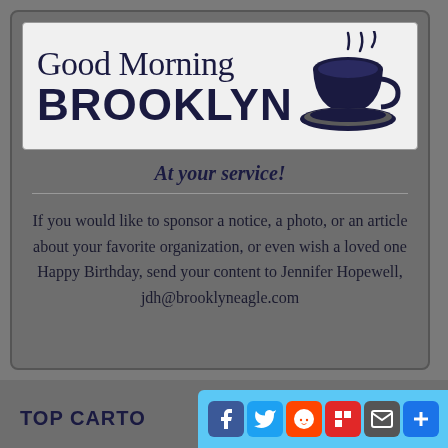[Figure (logo): Good Morning Brooklyn logo with coffee cup graphic]
At your service!
If you would like to sponsor a notice, a photo, or an article about your favorite organization, or even wish a loved one Happy Birthday, send your content to Jennifer Hopewell, jdh@brooklyneagle.com
TOP CARTOO
[Figure (screenshot): Social media share bar with Facebook, Twitter, Reddit, Flipboard, Email, and Share buttons]